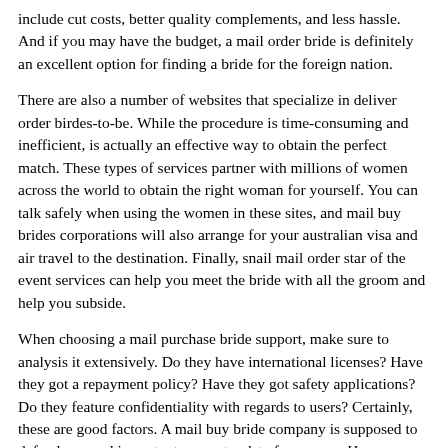include cut costs, better quality complements, and less hassle. And if you may have the budget, a mail order bride is definitely an excellent option for finding a bride for the foreign nation.
There are also a number of websites that specialize in deliver order birdes-to-be. While the procedure is time-consuming and inefficient, is actually an effective way to obtain the perfect match. These types of services partner with millions of women across the world to obtain the right woman for yourself. You can talk safely when using the women in these sites, and mail buy brides corporations will also arrange for your australian visa and air travel to the destination. Finally, snail mail order star of the event services can help you meet the bride with all the groom and help you subside.
When choosing a mail purchase bride support, make sure to analysis it extensively. Do they have international licenses? Have they got a repayment policy? Have they got safety applications? Do they feature confidentiality with regards to users? Certainly, these are good factors. A mail buy bride company is supposed to defend you and important computer data from scam. However , understand what feel comfortable with the privacy packages of mail order bride products, you should try a totally free website or platform to find your perfect diamond necklace.
Another advantage of mail purchase brides is their dangerous of